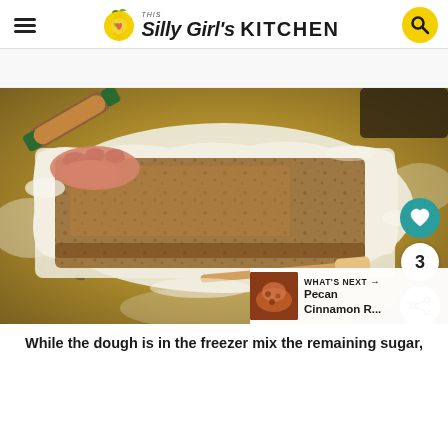This Silly Girl's KITCHEN
[Figure (photo): Rolled out dough on a granite countertop with cinnamon-sugar filling spread on top, a rolling pin and spatula visible, hand pressing the filling.]
While the dough is in the freezer mix the remaining sugar,